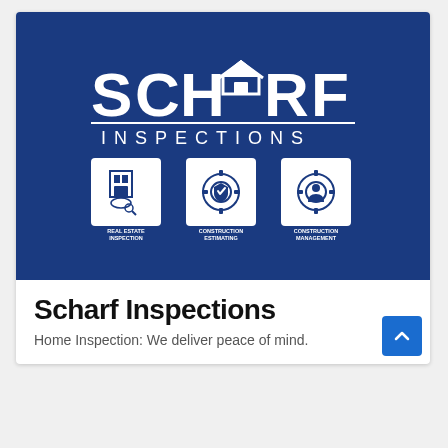[Figure (logo): Scharf Inspections logo on dark blue background. Large white stylized text 'SCHARF' with a house icon replacing the A, and 'INSPECTIONS' below in spaced letters. Three white-bordered icon boxes below: Real Estate Inspection (building/magnifier icon), Construction Estimating (gear/shield icon), Construction Management (gear/person icon).]
Scharf Inspections
Home Inspection: We deliver peace of mind.